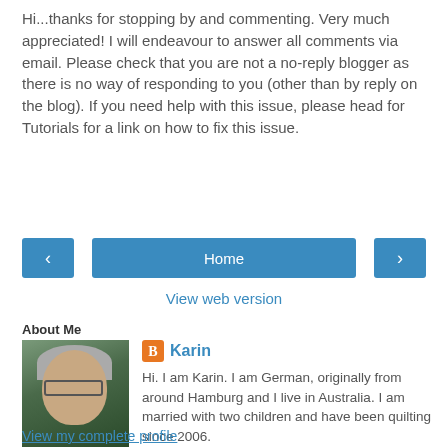Hi...thanks for stopping by and commenting. Very much appreciated! I will endeavour to answer all comments via email. Please check that you are not a no-reply blogger as there is no way of responding to you (other than by reply on the blog). If you need help with this issue, please head for Tutorials for a link on how to fix this issue.
[Figure (other): Navigation bar with left arrow button, Home button, and right arrow button, all in blue]
View web version
About Me
[Figure (photo): Profile photo of Karin, a woman with gray hair and glasses]
Karin
Hi. I am Karin. I am German, originally from around Hamburg and I live in Australia. I am married with two children and have been quilting since 2006.
View my complete profile